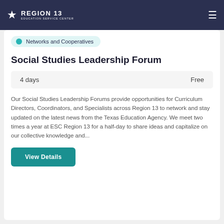REGION 13 EDUCATION SERVICE CENTER
Networks and Cooperatives
Social Studies Leadership Forum
| Duration | Cost |
| --- | --- |
| 4 days | Free |
Our Social Studies Leadership Forums provide opportunities for Curriculum Directors, Coordinators, and Specialists across Region 13 to network and stay updated on the latest news from the Texas Education Agency. We meet two times a year at ESC Region 13 for a half-day to share ideas and capitalize on our collective knowledge and...
View Details